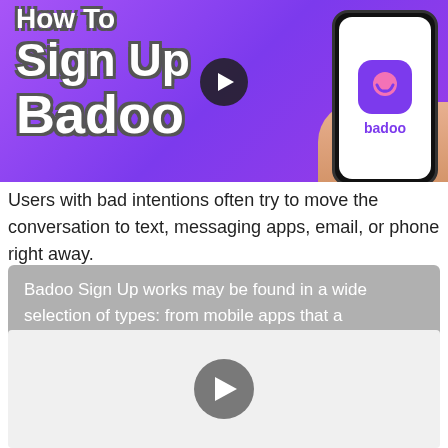[Figure (screenshot): Thumbnail image with purple gradient background showing 'How To Sign Up Badoo' text in white bold font with dark outline, a play button in the center, and a hand holding a phone on the right displaying the Badoo app icon and wordmark]
Users with bad intentions often try to move the conversation to text, messaging apps, email, or phone right away.
Badoo Sign Up works may be found in a wide selection of types: from mobile apps that a
[Figure (screenshot): Video player area showing a large gray play button on a light gray background]